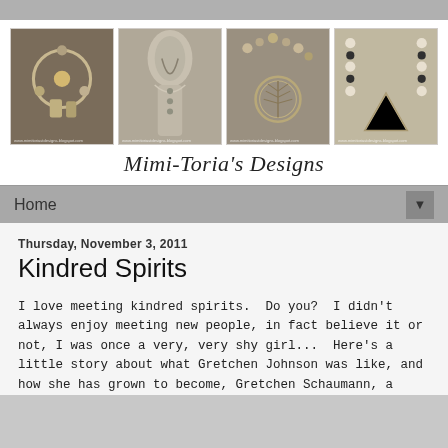[Figure (photo): Four photographs of handmade jewelry pieces displayed in a row: charm bracelet/keyring with silver charms, necklace on a dress form mannequin, ornate necklace with tree of life pendant, and a beaded necklace with woven pendant.]
Mimi-Toria's Designs
Home
Thursday, November 3, 2011
Kindred Spirits
I love meeting kindred spirits.  Do you?  I didn't always enjoy meeting new people, in fact believe it or not, I was once a very, very shy girl...  Here's a little story about what Gretchen Johnson was like, and how she has grown to become, Gretchen Schaumann, a